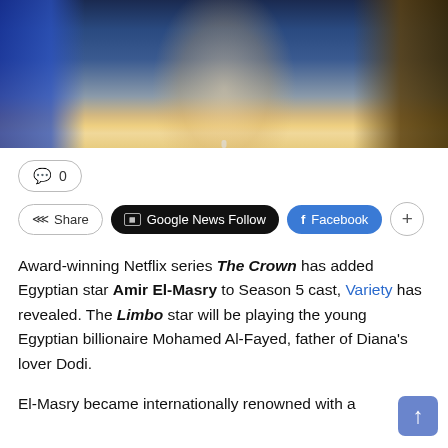[Figure (photo): A young man in a white chef's coat photographed against a dark background with blue and amber/golden tones]
💬 0
Share  |  Google News Follow  |  Facebook  |  +
Award-winning Netflix series The Crown has added Egyptian star Amir El-Masry to Season 5 cast, Variety has revealed. The Limbo star will be playing the young Egyptian billionaire Mohamed Al-Fayed, father of Diana's lover Dodi.
El-Masry became internationally renowned with a